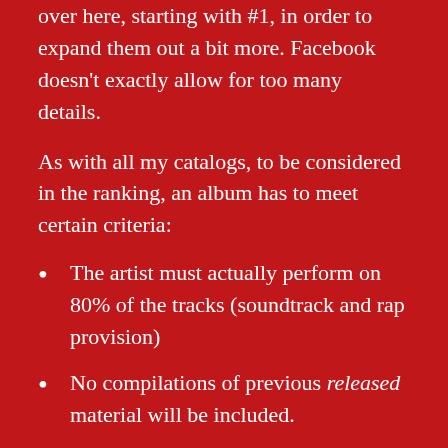over here, starting with #1, in order to expand them out a bit more. Facebook doesn't exactly allow for too many details.
As with all my catalogs, to be considered in the ranking, an album has to meet certain criteria:
The artist must actually perform on 80% of the tracks (soundtrack and rap provision)
No compilations of previous released material will be included.
However, compilations of previously recorded material will be included if they are remixes, bonus tracks, outtakes… mostly music that hasn't been part of a main release before.
The album must have been released officially